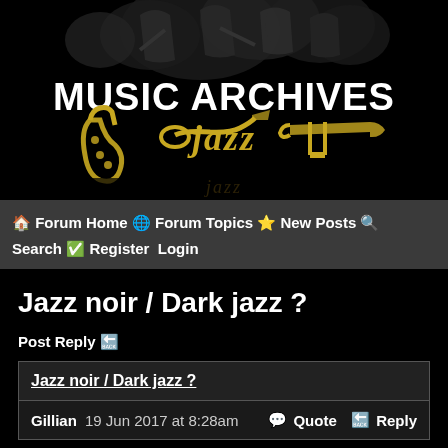[Figure (illustration): Jazz Music Archives banner with musicians silhouettes at top, large text 'MUSIC ARCHIVES' in white, and gold jazz instruments (saxophone, trumpet, trombone) at the bottom against a black background]
🏠 Forum Home 🌐 Forum Topics ⭐ New Posts 🔍 Search ✅ Register  Login
Jazz noir / Dark jazz ?
Post Reply 🔙
Jazz noir / Dark jazz ?
Gillian 19 Jun 2017 at 8:28am  💬 Quote  🔙 Reply